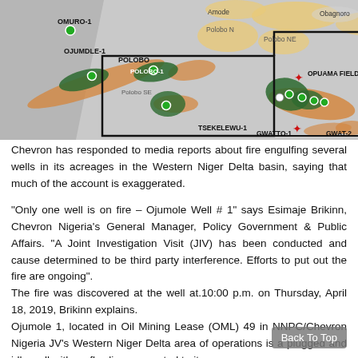[Figure (map): Map of Chevron Nigeria oil fields in the Western Niger Delta showing wells (green and red dots) and oil field areas (green and orange shaded regions). Labels include OMURO-1, OJUMDLE-1, POLOBO, POLOBO-1, Polobo N, Polobo NE, Polobo SE, TSEKELEWU-1, OPUAMA FIELD, GWATTO-1, GWAT-2, Amode, Obagnoro.]
Chevron has responded to media reports about fire engulfing several wells in its acreages in the Western Niger Delta basin, saying that much of the account is exaggerated.
“Only one well is on fire – Ojumole Well # 1” says Esimaje Brikinn, Chevron Nigeria’s General Manager, Policy Government & Public Affairs. “A Joint Investigation Visit (JIV) has been conducted and cause determined to be third party interference. Efforts to put out the fire are ongoing”.
The fire was discovered at the well at.10:00 p.m. on Thursday, April 18, 2019, Brikinn explains.
Ojumole 1, located in Oil Mining Lease (OML) 49 in NNPC/Chevron Nigeria JV’s Western Niger Delta area of operations is a plugged and idle well with no flowline connected to it.